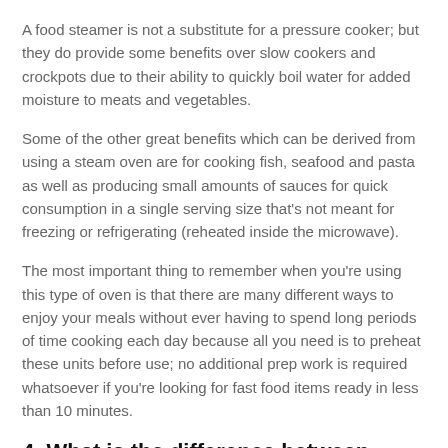A food steamer is not a substitute for a pressure cooker; but they do provide some benefits over slow cookers and crockpots due to their ability to quickly boil water for added moisture to meats and vegetables.
Some of the other great benefits which can be derived from using a steam oven are for cooking fish, seafood and pasta as well as producing small amounts of sauces for quick consumption in a single serving size that's not meant for freezing or refrigerating (reheated inside the microwave).
The most important thing to remember when you're using this type of oven is that there are many different ways to enjoy your meals without ever having to spend long periods of time cooking each day because all you need is to preheat these units before use; no additional prep work is required whatsoever if you're looking for fast food items ready in less than 10 minutes.
4. What is the difference between steam